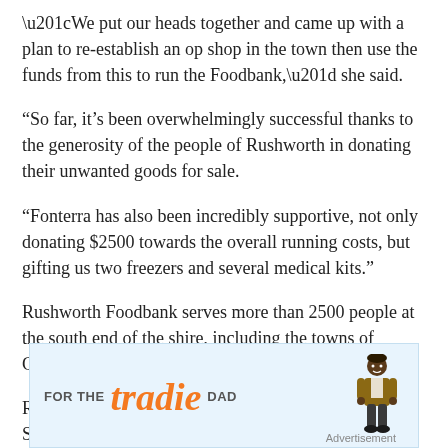“We put our heads together and came up with a plan to re-establish an op shop in the town then use the funds from this to run the Foodbank,” she said.
“So far, it’s been overwhelmingly successful thanks to the generosity of the people of Rushworth in donating their unwanted goods for sale.
“Fonterra has also been incredibly supportive, not only donating $2500 towards the overall running costs, but gifting us two freezers and several medical kits.”
Rushworth Foodbank serves more than 2500 people at the south end of the shire, including the towns of Colbinabbin, Toolleen and Stanhope.
Regional operations manager for northern Victoria Steve
[Figure (infographic): Advertisement banner with light blue background reading 'FOR THE tradie DAD' with a cartoon figure of a person on the right side. The word 'tradie' is in large orange italic script font. 'FOR THE' and 'DAD' are in smaller bold grey uppercase sans-serif text. Bottom right says 'Advertisement'.]